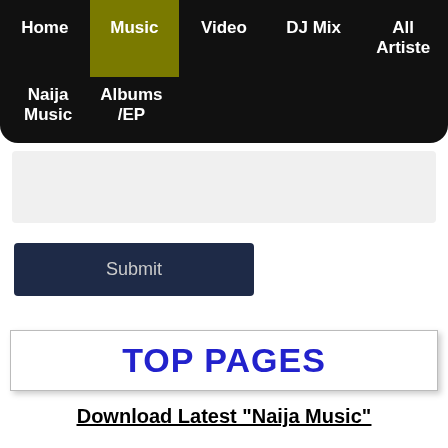Home | Music | Video | DJ Mix | All Artiste | Naija Music | Albums /EP
[Figure (other): Search input area (gray box)]
Submit
TOP PAGES
Download Latest "Naija Music"